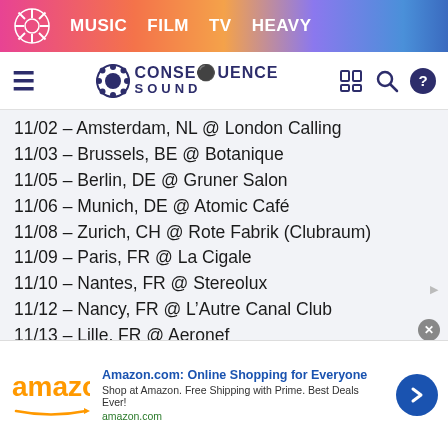MUSIC  FILM  TV  HEAVY
[Figure (logo): Consequence Sound logo with hamburger menu, brand name, and nav icons]
11/02 – Amsterdam, NL @ London Calling
11/03 – Brussels, BE @ Botanique
11/05 – Berlin, DE @ Gruner Salon
11/06 – Munich, DE @ Atomic Café
11/08 – Zurich, CH @ Rote Fabrik (Clubraum)
11/09 – Paris, FR @ La Cigale
11/10 – Nantes, FR @ Stereolux
11/12 – Nancy, FR @ L'Autre Canal Club
11/13 – Lille, FR @ Aeronef
11/15 – Lyon, FR @ Le Sucre
11/18 – Toulouse, FR @ La Dynamo
11/20 – Bordeaux, FR @ Iboat
[Figure (screenshot): Amazon advertisement banner: Amazon.com: Online Shopping for Everyone]